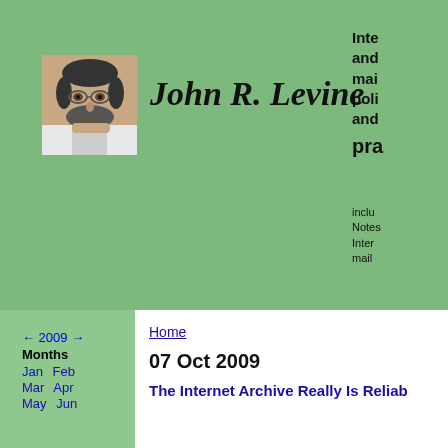[Figure (photo): Headshot photo of a man with glasses and beard resting his chin on his hand]
John R. Levine
Internet and mail policy and pra... including Notes: Intern mail
← 2009 →
Months
Jan  Feb
Mar  Apr
May  Jun
Home
07 Oct 2009
The Internet Archive Really Is Reliab...